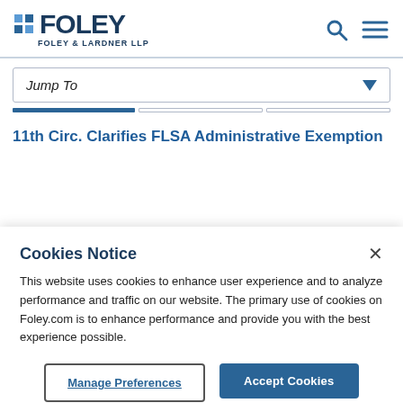FOLEY FOLEY & LARDNER LLP
Jump To
11th Circ. Clarifies FLSA Administrative Exemption
Cookies Notice
This website uses cookies to enhance user experience and to analyze performance and traffic on our website. The primary use of cookies on Foley.com is to enhance performance and provide you with the best experience possible.
Manage Preferences
Accept Cookies